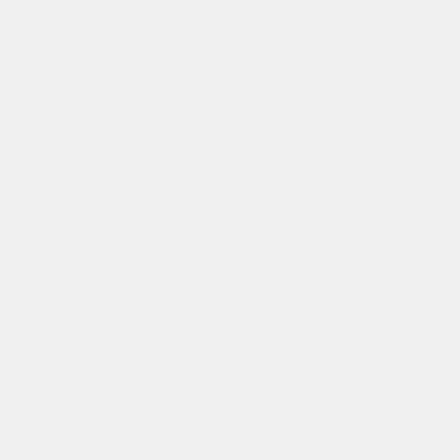to eff us TD an ob ori de tec to ov the tar ha bo
TD in As (C M